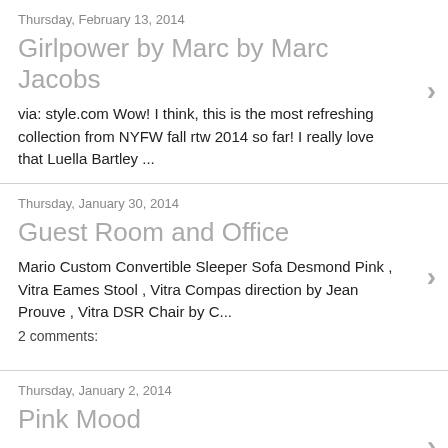Thursday, February 13, 2014
Girlpower by Marc by Marc Jacobs
via: style.com Wow! I think, this is the most refreshing collection from NYFW fall rtw 2014 so far! I really love that Luella Bartley ...
Thursday, January 30, 2014
Guest Room and Office
Mario Custom Convertible Sleeper Sofa Desmond Pink , Vitra Eames Stool , Vitra Compas direction by Jean Prouve , Vitra DSR Chair by C...
2 comments:
Thursday, January 2, 2014
Pink Mood
Miu Miu Polka-dot jacquard coat , Dear Cashmere Round-Neck Cashmere Sweater , Marni Pink Pants , Fendi 2 Jours Mini Monster Bag , Acn...